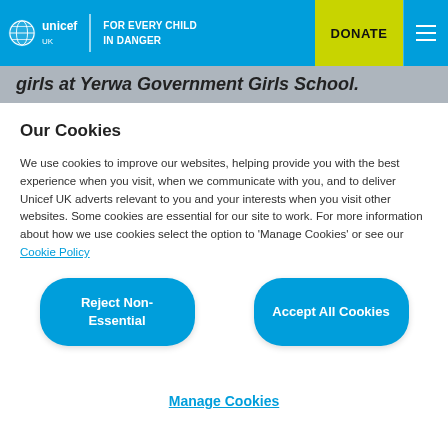unicef UK | FOR EVERY CHILD IN DANGER | DONATE
girls at Yerwa Government Girls School.
Our Cookies
We use cookies to improve our websites, helping provide you with the best experience when you visit, when we communicate with you, and to deliver Unicef UK adverts relevant to you and your interests when you visit other websites. Some cookies are essential for our site to work. For more information about how we use cookies select the option to 'Manage Cookies' or see our Cookie Policy
Reject Non-Essential
Accept All Cookies
Manage Cookies